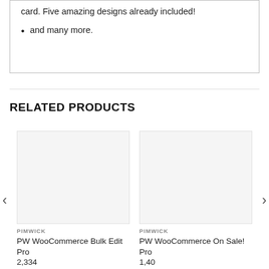card. Five amazing designs already included!
and many more.
RELATED PRODUCTS
PIMWICK
PW WooCommerce Bulk Edit Pro 2,334
PIMWICK
PW WooCommerce On Sale! Pro 1,40